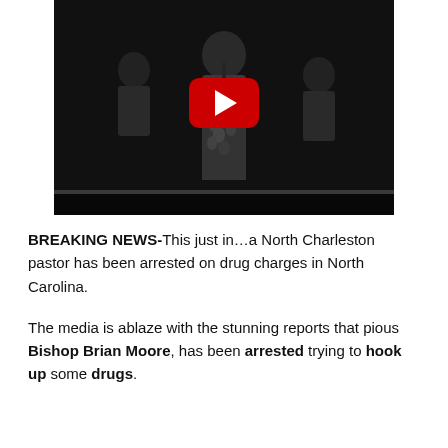[Figure (screenshot): A dark YouTube video thumbnail showing a person on stage speaking into a microphone, with the YouTube play button overlay in the center.]
BREAKING NEWS-This just in…a North Charleston pastor has been arrested on drug charges in North Carolina.
The media is ablaze with the stunning reports that pious Bishop Brian Moore, has been arrested trying to hook up some drugs.